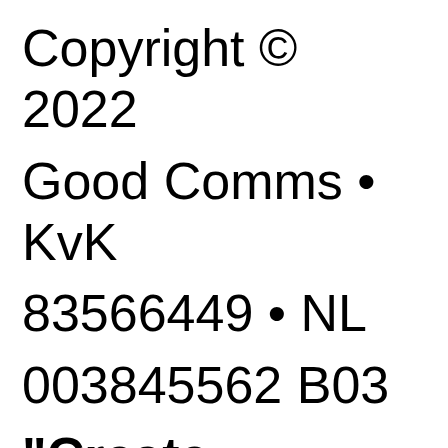Copyright © 2022 Good Comms • KvK 83566449 • NL 003845562 B03 "Create